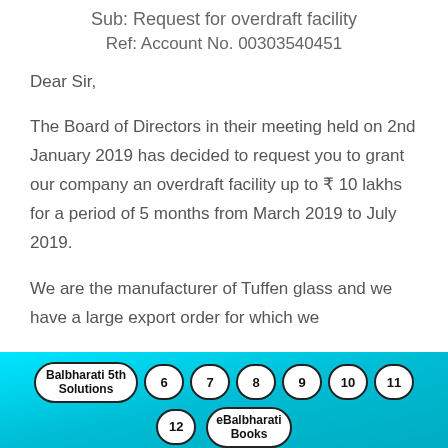Sub: Request for overdraft facility
Ref: Account No. 00303540451
Dear Sir,
The Board of Directors in their meeting held on 2nd January 2019 has decided to request you to grant our company an overdraft facility up to ₹ 10 lakhs for a period of 5 months from March 2019 to July 2019.
We are the manufacturer of Tuffen glass and we have a large export order for which we
Balbharati 5th Solutions  6  7  8  9  10  11  12  eBalbharati Books